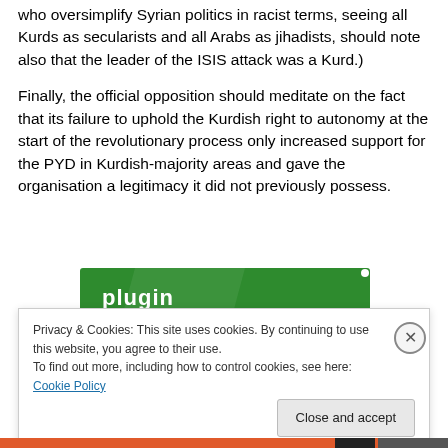who oversimplify Syrian politics in racist terms, seeing all Kurds as secularists and all Arabs as jihadists, should note also that the leader of the ISIS attack was a Kurd.)
Finally, the official opposition should meditate on the fact that its failure to uphold the Kurdish right to autonomy at the start of the revolutionary process only increased support for the PYD in Kurdish-majority areas and gave the organisation a legitimacy it did not previously possess.
[Figure (other): Green plugin banner/widget bar]
Privacy & Cookies: This site uses cookies. By continuing to use this website, you agree to their use.
To find out more, including how to control cookies, see here: Cookie Policy